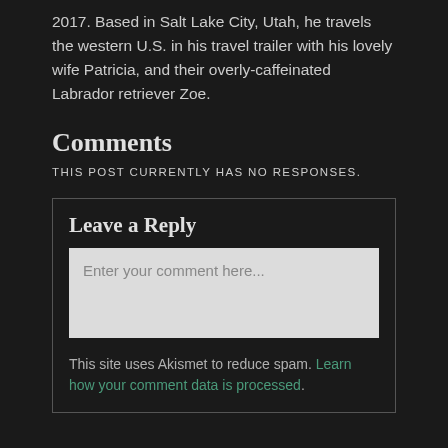2017. Based in Salt Lake City, Utah, he travels the western U.S. in his travel trailer with his lovely wife Patricia, and their overly-caffeinated Labrador retriever Zoe.
Comments
THIS POST CURRENTLY HAS NO RESPONSES.
Leave a Reply
Enter your comment here...
This site uses Akismet to reduce spam. Learn how your comment data is processed.